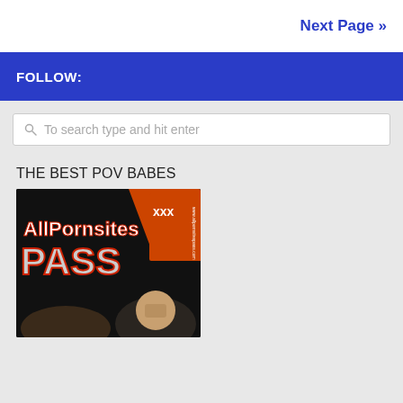Next Page »
FOLLOW:
To search type and hit enter
THE BEST POV BABES
[Figure (photo): AllPornsites Pass XXX logo with performers in background]